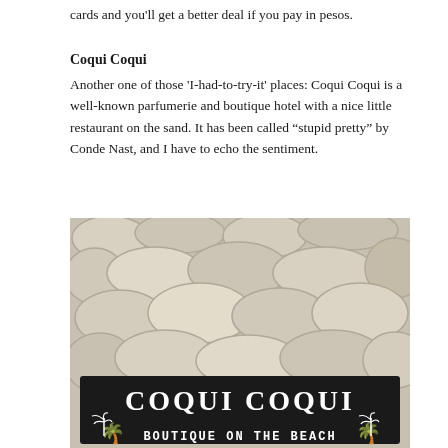cards and you'll get a better deal if you pay in pesos.
Coqui Coqui
Another one of those 'I-had-to-try-it' places: Coqui Coqui is a well-known parfumerie and boutique hotel with a nice little restaurant on the sand. It has been called “stupid pretty” by Conde Nast, and I have to echo the sentiment.
[Figure (photo): Photo of a stone wall background with a black wooden sign reading 'COQUI COQUI' in large white letters and below it 'BOUTIQUE ON THE BEACH' with palm tree icons on either side.]